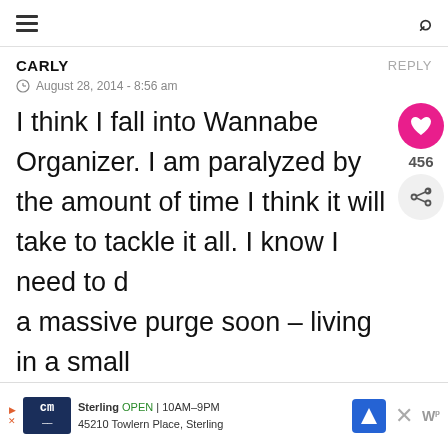≡  🔍
CARLY    REPLY
August 28, 2014 - 8:56 am
I think I fall into Wannabe Organizer. I am paralyzed by the amount of time I think it will take to tackle it all. I know I need to do a massive purge soon – living in a small Brooklyn apartment means purging is a MUST. Ps: I love that your coffee [mug made it] into more than one of your photos! 😉
[Figure (screenshot): Social share widget with heart button (456 likes) and share button]
[Figure (screenshot): What's Next promo box: 5 Tips For New Runners...]
[Figure (screenshot): Advertisement banner: cm Sterling OPEN 10AM-9PM 45210 Towlern Place, Sterling]